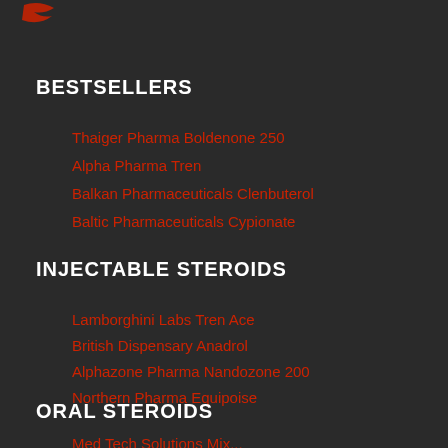[Figure (logo): Red stylized logo/graphic at top left]
BESTSELLERS
Thaiger Pharma Boldenone 250
Alpha Pharma Tren
Balkan Pharmaceuticals Clenbuterol
Baltic Pharmaceuticals Cypionate
INJECTABLE STEROIDS
Lamborghini Labs Tren Ace
British Dispensary Anadrol
Alphazone Pharma Nandozone 200
Northern Pharma Equipoise
ORAL STEROIDS
Med Tech Solutions Mix...